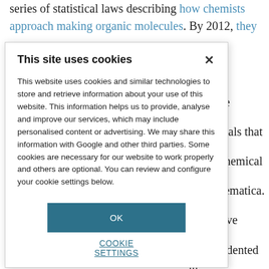series of statistical laws describing how chemists approach making organic molecules. By 2012, they
[Figure (screenshot): Cookie consent modal dialog overlaying the article text. Contains title 'This site uses cookies', body text about cookies and data use, an OK button, and a COOKIE SETTINGS link.]
ate and optimise g materials that n fine chemical tool Chematica. o improve unprecedented in e sought the best eriments can have they are biased ments. So around de the key bing reaction